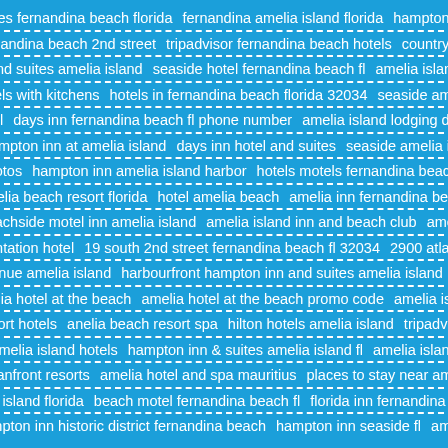suites fernandina beach florida   fernandina amelia island florida   hampton inn fernandina beach 2nd street   tripadvisor fernandina beach hotels   country inn and suites amelia island   seaside hotel fernandina beach fl   amelia island hotels with kitchens   hotels in fernandina beach florida 32034   seaside amelia hotel   days inn fernandina beach fl phone number   amelia island lodging deals   hampton inn at amelia island   days inn hotel and suites   seaside amelia inn photos   hampton inn amelia island harbor   hotels motels fernandina beach fl   amelia beach resort florida   hotel amelia beach   amelia inn fernandina beach   beachside motel inn amelia island   amelia island inn and beach club   amelia plantation hotel   19 south 2nd street fernandina beach fl 32034   2900 atlantic avenue amelia island   harbourfront hampton inn and suites amelia island   the amelia hotel at the beach   amelia hotel at the beach promo code   amelia island resort hotels   anelia beach resort spa   hilton hotels amelia island   tripadvisor amelia island hotels   hampton inn & suites amelia island fl   amelia island oceanfront resorts   amelia hotel and spa mauritius   places to stay near amelia island florida   beach motel fernandina beach fl   florida inn fernandina   hampton inn historic district fernandina beach   hampton inn seaside fl   amelia